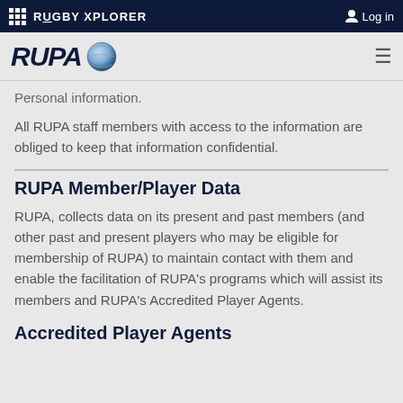RUGBY XPLORER   Log in
[Figure (logo): RUPA logo with rugby ball icon and hamburger menu icon]
Personal information.
All RUPA staff members with access to the information are obliged to keep that information confidential.
RUPA Member/Player Data
RUPA, collects data on its present and past members (and other past and present players who may be eligible for membership of RUPA) to maintain contact with them and enable the facilitation of RUPA's programs which will assist its members and RUPA's Accredited Player Agents.
Accredited Player Agents